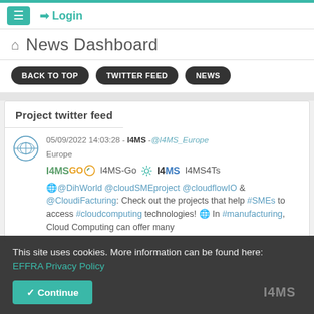≡  ➔ Login
⌂ News Dashboard
BACK TO TOP
TWITTER FEED
NEWS
Project twitter feed
05/09/2022 14:03:28 - I4MS -@I4MS_Europe Europe I4MSGO I4MS-Go ⚙ I4MS I4MS4Ts 🌐@DihWorld @cloudSMEproject @cloudflowIO & @CloudiFacturing: Check out the projects that help #SMEs to access #cloudcomputing technologies! 🌐 In #manufacturing, Cloud Computing can offer many
This site uses cookies. More information can be found here: EFFRA Privacy Policy
✔ Continue